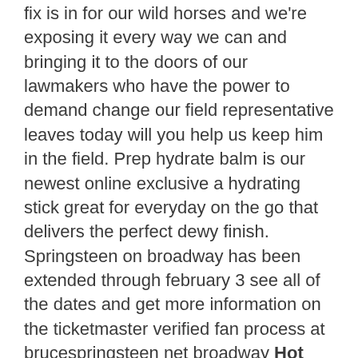fix is in for our wild horses and we're exposing it every way we can and bringing it to the doors of our lawmakers who have the power to demand change our field representative leaves today will you help us keep him in the field. Prep hydrate balm is our newest online exclusive a hydrating stick great for everyday on the go that delivers the perfect dewy finish. Springsteen on broadway has been extended through february 3 see all of the dates and get more information on the ticketmaster verified fan process at brucespringsteen net broadway Hot Awesome Christmas Santa Isn't The Only One Coming To Town shirt
Awesome Christmas Santa Isn't The Only One Coming To Town shirt, Hoodie, Sweater, Longsleeve T-Shirt